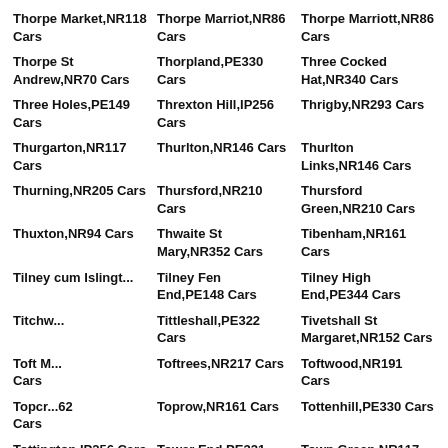Thorpe Market,NR118 Cars
Thorpe Marriot,NR86 Cars
Thorpe Marriott,NR86 Cars
Thorpe St Andrew,NR70 Cars
Thorpland,PE330 Cars
Three Cocked Hat,NR340 Cars
Three Holes,PE149 Cars
Threxton Hill,IP256 Cars
Thrigby,NR293 Cars
Thurgarton,NR117 Cars
Thurlton,NR146 Cars
Thurlton Links,NR146 Cars
Thurning,NR205 Cars
Thursford,NR210 Cars
Thursford Green,NR210 Cars
Thuxton,NR94 Cars
Thwaite St Mary,NR352 Cars
Tibenham,NR161 Cars
Tilney cum Islington,... Cars
Tilney Fen End,PE148 Cars
Tilney High End,PE344 Cars
Titchw... Cars
Tittleshall,PE322 Cars
Tivetshall St Margaret,NR152 Cars
Toft M... Cars
Toftrees,NR217 Cars
Toftwood,NR191 Cars
Topcr...62 Cars
Toprow,NR161 Cars
Tottenhill,PE330 Cars
Tottington,IP256 Cars
Tower End,PE321 Cars
Town Green,NR117 Cars